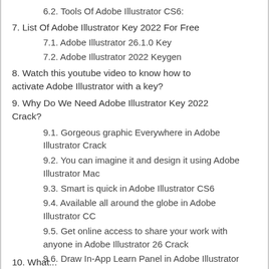6.2. Tools Of Adobe Illustrator CS6:
7. List Of Adobe Illustrator Key 2022 For Free
7.1. Adobe Illustrator 26.1.0 Key
7.2. Adobe Illustrator 2022 Keygen
8. Watch this youtube video to know how to activate Adobe Illustrator with a key?
9. Why Do We Need Adobe Illustrator Key 2022 Crack?
9.1. Gorgeous graphic Everywhere in Adobe Illustrator Crack
9.2. You can imagine it and design it using Adobe Illustrator Mac
9.3. Smart is quick in Adobe Illustrator CS6
9.4. Available all around the globe in Adobe Illustrator CC
9.5. Get online access to share your work with anyone in Adobe Illustrator 26 Crack
9.6. Draw In-App Learn Panel in Adobe Illustrator 26 Mac
10. What...